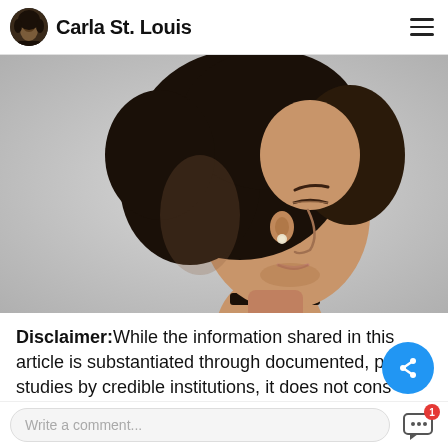Carla St. Louis
[Figure (photo): Side profile photo of a young Black woman with natural afro hair styled up, wearing a black choker necklace and small stud earring, looking downward against a light grey background.]
Disclaimer:While the information shared in this article is substantiated through documented, public studies by credible institutions, it does not cons
Write a comment...